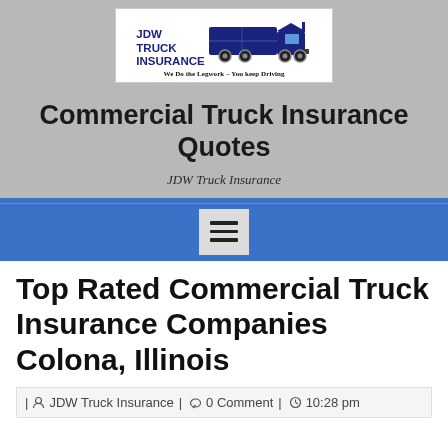[Figure (logo): JDW Truck Insurance logo with blue semi-truck graphic and tagline 'We Do the Legwork – You keep Driving']
Commercial Truck Insurance Quotes
JDW Truck Insurance
[Figure (other): Hamburger navigation menu button (three horizontal lines) on blue navigation bar background]
Top Rated Commercial Truck Insurance Companies Colona, Illinois
| JDW Truck Insurance | 0 Comment | 10:28 pm